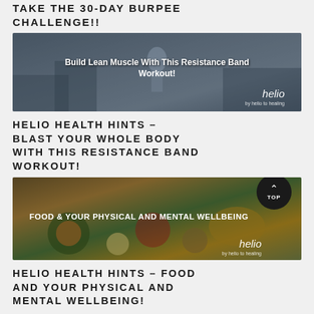TAKE THE 30-DAY BURPEE CHALLENGE!!
[Figure (photo): Person using resistance band outdoors with text overlay 'Build Lean Muscle With This Resistance Band Workout!' and Helio logo]
HELIO HEALTH HINTS – BLAST YOUR WHOLE BODY WITH THIS RESISTANCE BAND WORKOUT!
[Figure (photo): Overhead shot of various healthy foods including avocado, berries, nuts, and vegetables with text overlay 'FOOD & YOUR PHYSICAL AND MENTAL WELLBEING' and Helio logo]
HELIO HEALTH HINTS – FOOD AND YOUR PHYSICAL AND MENTAL WELLBEING!